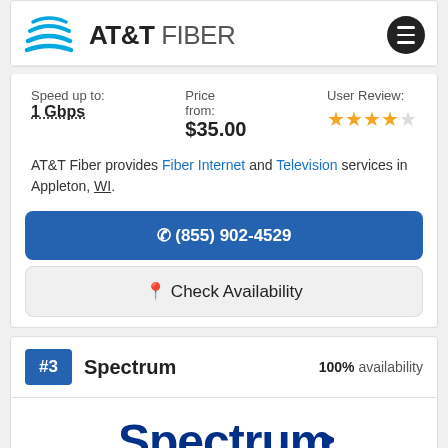[Figure (logo): AT&T Fiber logo with blue globe icon, bold AT&T text and lighter FIBER text, and a menu hamburger button in a dark circle]
Speed up to: 1 Gbps
Price from: $35.00
User Review: 3.5 stars
AT&T Fiber provides Fiber Internet and Television services in Appleton, WI.
(855) 902-4529
Check Availability
#3 Spectrum 100% availability
[Figure (logo): Spectrum logo in dark blue with stylized arrow]